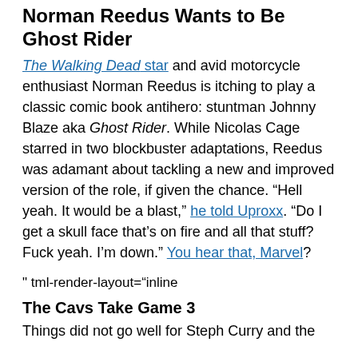Norman Reedus Wants to Be Ghost Rider
The Walking Dead star and avid motorcycle enthusiast Norman Reedus is itching to play a classic comic book antihero: stuntman Johnny Blaze aka Ghost Rider. While Nicolas Cage starred in two blockbuster adaptations, Reedus was adamant about tackling a new and improved version of the role, if given the chance. “Hell yeah. It would be a blast,” he told Uproxx. “Do I get a skull face that’s on fire and all that stuff? Fuck yeah. I’m down.” You hear that, Marvel?
" tml-render-layout="inline
The Cavs Take Game 3
Things did not go well for Steph Curry and the